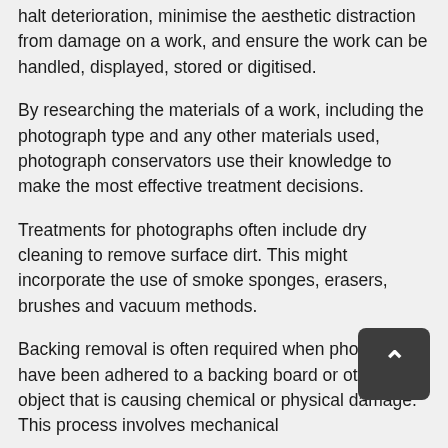halt deterioration, minimise the aesthetic distraction from damage on a work, and ensure the work can be handled, displayed, stored or digitised.
By researching the materials of a work, including the photograph type and any other materials used, photograph conservators use their knowledge to make the most effective treatment decisions.
Treatments for photographs often include dry cleaning to remove surface dirt. This might incorporate the use of smoke sponges, erasers, brushes and vacuum methods.
Backing removal is often required when photographs have been adhered to a backing board or other object that is causing chemical or physical damage. This process involves mechanical